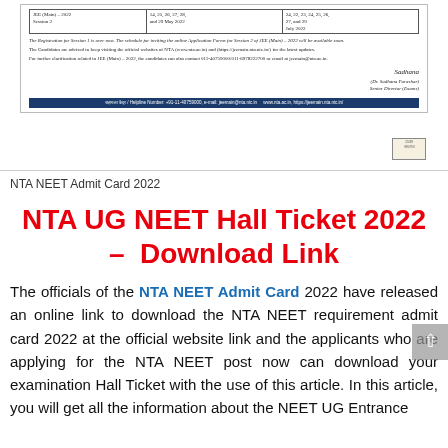[Figure (other): Scanned NTA JEE (Main) 2022 official notice showing exam schedule table, italicized notices about registration and website updates, contact information, signature of Dr. Sadhana Parashar (Senior Director Exams), and a blue footer bar with helpline number.]
NTA NEET Admit Card 2022
NTA UG NEET Hall Ticket 2022 – Download Link
The officials of the NTA NEET Admit Card 2022 have released an online link to download the NTA NEET requirement admit card 2022 at the official website link and the applicants who are applying for the NTA NEET post now can download your examination Hall Ticket with the use of this article. In this article, you will get all the information about the NEET UG Entrance